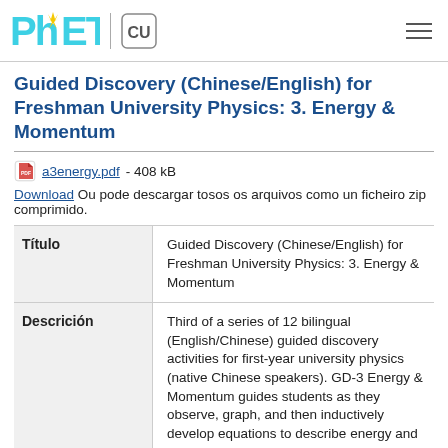PhET | CU Boulder
Guided Discovery (Chinese/English) for Freshman University Physics: 3. Energy & Momentum
a3energy.pdf - 408 kB
Download Ou pode descargar tosos os arquivos como un ficheiro zip comprimido.
| Field | Value |
| --- | --- |
| Título | Guided Discovery (Chinese/English) for Freshman University Physics: 3. Energy & Momentum |
| Descrición | Third of a series of 12 bilingual (English/Chinese) guided discovery activities for first-year university physics (native Chinese speakers). GD-3 Energy & Momentum guides students as they observe, graph, and then inductively develop equations to describe energy and momentum. During each activity, students learn to associate the English terms with the Chinese equivalents. Guided discovery worksheets (pdf) linked via HTML |